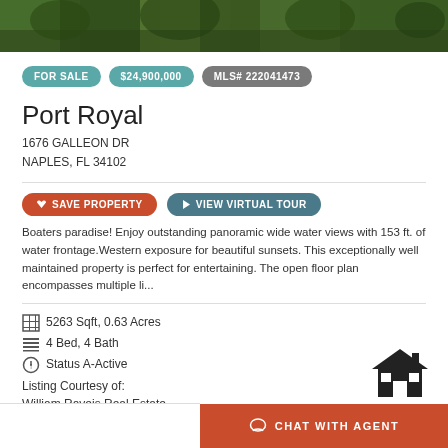[Figure (photo): Aerial or landscape photo banner of property with trees/vegetation]
FOR SALE   $24,900,000   MLS# 222041473
Port Royal
1676 GALLEON DR
NAPLES, FL 34102
SAVE PROPERTY   VIEW VIRTUAL TOUR
Boaters paradise! Enjoy outstanding panoramic wide water views with 153 ft. of water frontage.Western exposure for beautiful sunsets. This exceptionally well maintained property is perfect for entertaining. The open floor plan encompasses multiple li...
5263 Sqft, 0.63 Acres
4 Bed, 4 Bath
Status A-Active
Listing Courtesy of:
William Raveis Real Estate
CHAT WITH AGENT